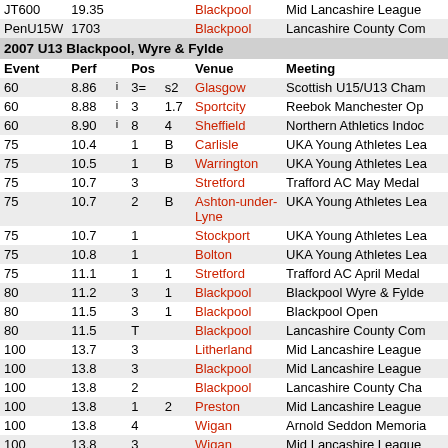| Event | Perf |  | Pos |  | Venue | Meeting |
| --- | --- | --- | --- | --- | --- | --- |
| JT600 | 19.35 |  |  |  | Blackpool | Mid Lancashire League |
| PenU15W | 1703 |  |  |  | Blackpool | Lancashire County Com |
| 2007 U13 Blackpool, Wyre & Fylde |  |  |  |  |  |  |
| Event | Perf |  | Pos |  | Venue | Meeting |
| 60 | 8.86 | i | 3= | s2 | Glasgow | Scottish U15/U13 Cham |
| 60 | 8.88 | i | 3 | 1.7 | Sportcity | Reebok Manchester Op |
| 60 | 8.90 | i | 8 | 4 | Sheffield | Northern Athletics Indo |
| 75 | 10.4 |  | 1 | B | Carlisle | UKA Young Athletes Lea |
| 75 | 10.5 |  | 1 | B | Warrington | UKA Young Athletes Lea |
| 75 | 10.7 |  | 3 |  | Stretford | Trafford AC May Medal |
| 75 | 10.7 |  | 2 | B | Ashton-under-Lyne | UKA Young Athletes Lea |
| 75 | 10.7 |  | 1 |  | Stockport | UKA Young Athletes Lea |
| 75 | 10.8 |  | 1 |  | Bolton | UKA Young Athletes Lea |
| 75 | 11.1 |  | 1 | 1 | Stretford | Trafford AC April Medal |
| 80 | 11.2 |  | 3 | 1 | Blackpool | Blackpool Wyre & Fylde |
| 80 | 11.5 |  | 3 | 1 | Blackpool | Blackpool Open |
| 80 | 11.5 |  | T |  | Blackpool | Lancashire County Com |
| 100 | 13.7 |  | 3 |  | Litherland | Mid Lancashire League |
| 100 | 13.8 |  | 3 |  | Blackpool | Mid Lancashire League |
| 100 | 13.8 |  | 2 |  | Blackpool | Lancashire County Cha |
| 100 | 13.8 |  | 1 | 2 | Preston | Mid Lancashire League |
| 100 | 13.8 |  | 4 |  | Wigan | Arnold Seddon Memoria |
| 100 | 13.8 |  | 3 |  | Wigan | Mid Lancashire League |
| 100 | 13.9 |  | 4 | 1 | Blackpool | Blackpool, Wyre & Fylde |